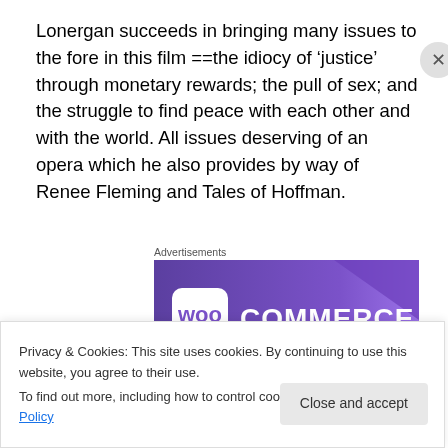Lonergan succeeds in bringing many issues to the fore in this film ==the idiocy of ‘justice’ through monetary rewards; the pull of sex; and the struggle to find peace with each other and with the world. All issues deserving of an opera which he also provides by way of Renee Fleming and Tales of Hoffman.
Advertisements
[Figure (logo): WooCommerce advertisement banner with purple gradient background and WooCommerce logo in white text]
Privacy & Cookies: This site uses cookies. By continuing to use this website, you agree to their use.
To find out more, including how to control cookies, see here: Cookie Policy
Close and accept